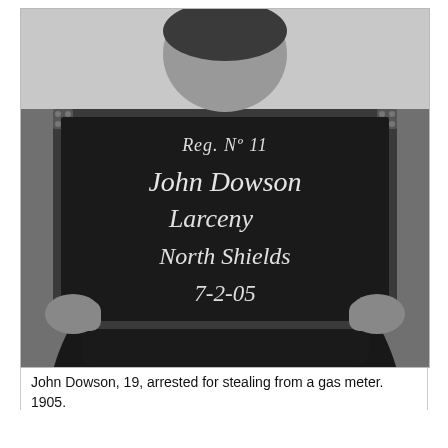[Figure (photo): Black and white mugshot photograph of John Dowson, a young man holding a slate blackboard with chalked handwriting reading: Reg. No 11 / John Dowson / Larceny / North Shields / 7-2-05. The subject is wearing a dark coat and is photographed from the torso up against a light wall background.]
John Dowson, 19, arrested for stealing from a gas meter. 1905.